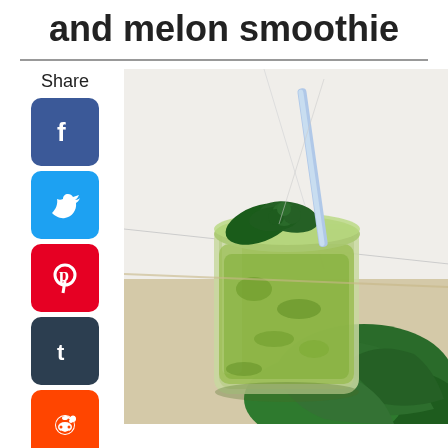and melon smoothie
Share
[Figure (photo): A green smoothie in a glass jar with a blue straw and fresh basil leaves on top, surrounded by dark green kale leaves on a light wooden surface.]